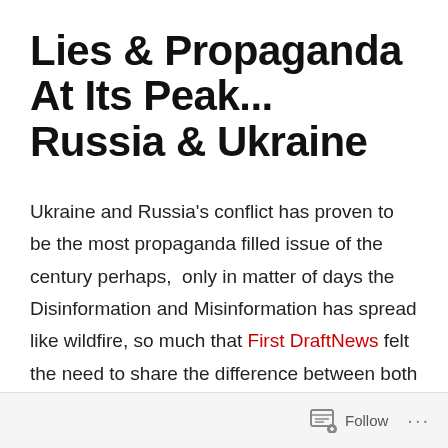Lies & Propaganda At Its Peak... Russia & Ukraine
Ukraine and Russia's conflict has proven to be the most propaganda filled issue of the century perhaps,  only in matter of days the Disinformation and Misinformation has spread like wildfire, so much that First DraftNews felt the need to share the difference between both of them and urged the masses to recheck and